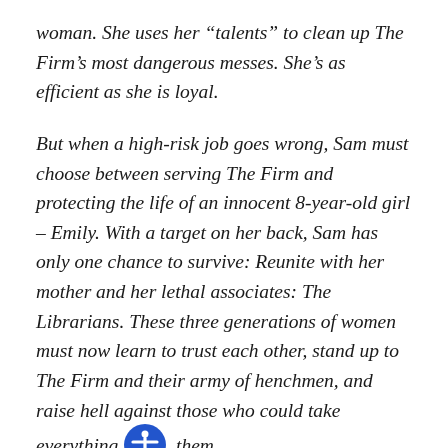woman. She uses her “talents” to clean up The Firm’s most dangerous messes. She’s as efficient as she is loyal.
But when a high-risk job goes wrong, Sam must choose between serving The Firm and protecting the life of an innocent 8-year-old girl – Emily. With a target on her back, Sam has only one chance to survive: Reunite with her mother and her lethal associates: The Librarians. These three generations of women must now learn to trust each other, stand up to The Firm and their army of henchmen, and raise hell against those who could take everything [accessibility icon] them.